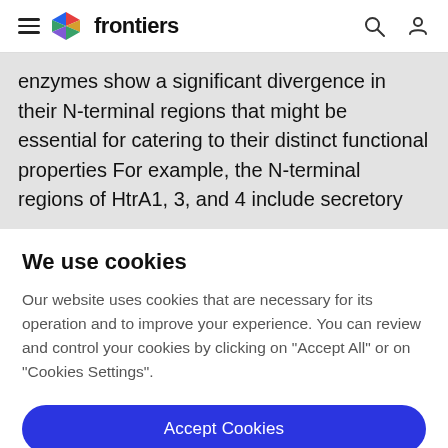frontiers
enzymes show a significant divergence in their N-terminal regions that might be essential for catering to their distinct functional properties For example, the N-terminal regions of HtrA1, 3, and 4 include secretory
We use cookies
Our website uses cookies that are necessary for its operation and to improve your experience. You can review and control your cookies by clicking on "Accept All" or on "Cookies Settings".
Accept Cookies
Cookies Settings